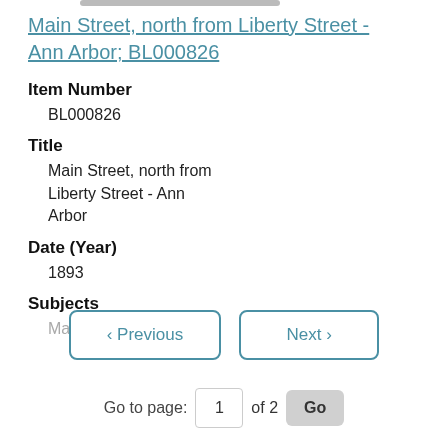Main Street, north from Liberty Street - Ann Arbor; BL000826
Item Number
BL000826
Title
Main Street, north from Liberty Street - Ann Arbor
Date (Year)
1893
Subjects
Main Street/Ann Arbor
< Previous  Next >
Go to page: 1 of 2 Go